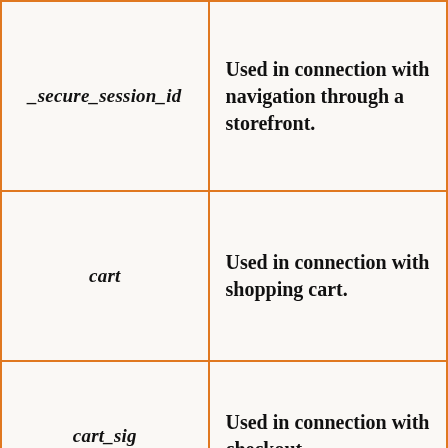| Cookie Name | Purpose |
| --- | --- |
| _secure_session_id | Used in connection with navigation through a storefront. |
| cart | Used in connection with shopping cart. |
| cart_sig | Used in connection with checkout. |
|  | Used in connection with... |